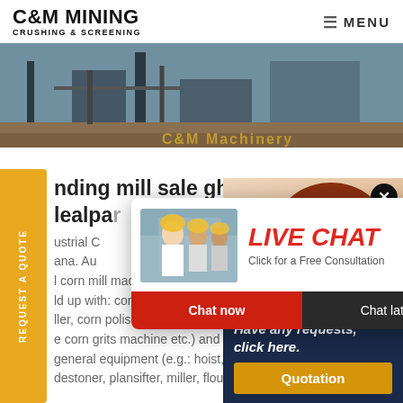C&M MINING CRUSHING & SCREENING | MENU
[Figure (photo): Mining/crushing equipment facility site photo with C&M Machinery text overlay]
nding mill sale ghana
lealpar
ustrial C
ana. Au
l corn mill machine for sale Ghi
ld up with: corn process equipm
ller, corn polisher, germ extract
e corn grits machine etc.) and
general equipment (e.g.: hoist, de
destoner, plansifter, miller, flour c
[Figure (screenshot): Live Chat popup with workers in hard hats image, LIVE CHAT heading in red italic, 'Click for a Free Consultation' subtitle, Chat now (red) and Chat later (dark) buttons]
[Figure (photo): Customer service agent woman with headset smiling, with close X button and 'Have any requests, click here. Quotation' panel]